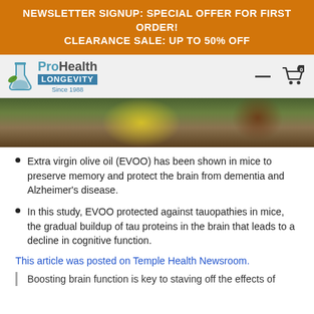NEWSLETTER SIGNUP: SPECIAL OFFER FOR FIRST ORDER!
CLEARANCE SALE: UP TO 50% OFF
[Figure (logo): ProHealth Longevity logo with flask/leaf icon, Since 1988]
[Figure (photo): Overhead view of olive oil bowl and herbs on wooden surface]
Extra virgin olive oil (EVOO) has been shown in mice to preserve memory and protect the brain from dementia and Alzheimer's disease.
In this study, EVOO protected against tauopathies in mice, the gradual buildup of tau proteins in the brain that leads to a decline in cognitive function.
This article was posted on Temple Health Newsroom.
Boosting brain function is key to staving off the effects of